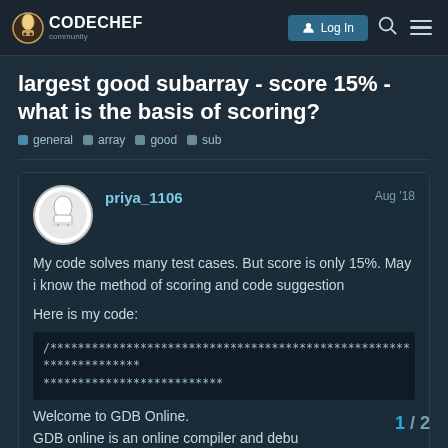CODECHEF | community | Log In
largest good subarray - score 15% - what is the basis of scoring?
general
array
good
sub
priya_1106 — Aug '18
My code solves many test cases. But score is only 15%. May i know the method of scoring and code suggestion

Here is my code:

/************************************************************
**************************

Welcome to GDB Online.
GDB online is an online compiler and debu
Python, PHP, Ruby,
1 / 2